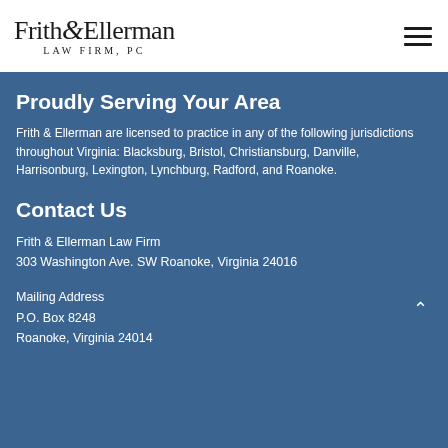[Figure (logo): Frith & Ellerman Law Firm, PC logo with serif text]
Proudly Serving Your Area
Frith & Ellerman are licensed to practice in any of the following jurisdictions throughout Virginia: Blacksburg, Bristol, Christiansburg, Danville, Harrisonburg, Lexington, Lynchburg, Radford, and Roanoke.
Contact Us
Frith & Ellerman Law Firm
303 Washington Ave. SW Roanoke, Virginia 24016
Mailing Address
P.O. Box 8248
Roanoke, Virginia 24014